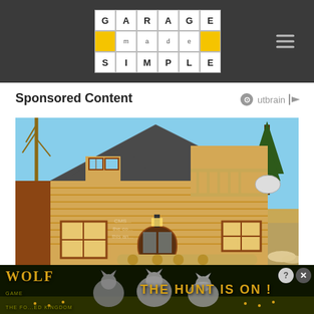Garage Made Simple - navigation header with logo
Sponsored Content
[Figure (photo): Exterior photo of a small wooden log cabin with a steep triangular dark-shingle roof, yellow pine log walls, wooden balcony, lantern light, and surrounding trees under blue sky]
[Figure (photo): Wolf Game - The Forsaken Kingdom advertisement banner showing wolves in a field with text THE HUNT IS ON!]